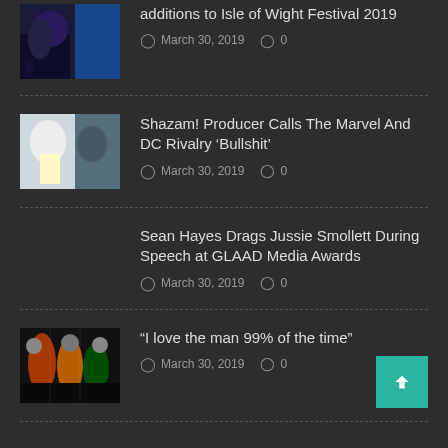additions to Isle of Wight Festival 2019 — March 30, 2019 — 0 comments
Shazam! Producer Calls The Marvel And DC Rivalry 'Bullshit' — March 30, 2019 — 0 comments
Sean Hayes Drags Jussie Smollett During Speech at GLAAD Media Awards — March 30, 2019 — 0 comments
"I love the man 99% of the time" — March 30, 2019 — 0 comments